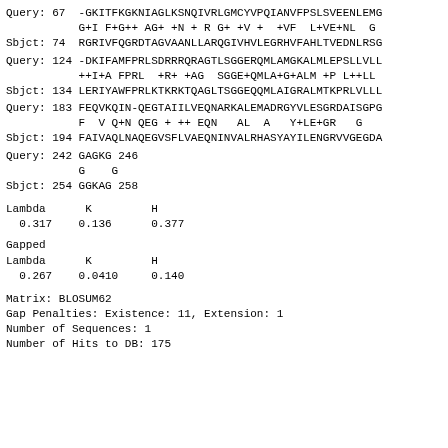Query: 67  -GKITFKGKNIAGLKSNQIVRLGMCYVPQIANVFPSLSVEENLEMO
            G+I F+G++ AG+ +N + R G+ +V +  +VF  L+VE+NL  G
Sbjct: 74  RGRIVFQGRDTAGVAANLLARQGIVHVLEGRHVFAHLTVEDNLRSG
Query: 124 -DKIFAMFPRLSDRRRQRAGTLSGGERQMLAMGKALMLEPSLLVLL
            ++I+A FPRL  +R+ +AG  SGGE+QMLA+G+ALM +P L++LL
Sbjct: 134 LERIYAWFPRLKTKRKTQAGLTSGGEQQMLAIGRALMTKPRLVLLL
Query: 183 FEQVKQIN-QEGTAIILVEQNARKALEMADRGYVLESGRDAISGPG
            F  V Q+N QEG + ++ EQN   AL  A   Y+LE+GR   G
Sbjct: 194 FAIVAQLNAQEGVSFLVAEQNINVALRHASYAYILENGRVVGEGDA
Query: 242 GAGKG 246
            G    G
Sbjct: 254 GGKAG 258
Lambda      K         H
  0.317    0.136      0.377
Gapped
Lambda      K         H
  0.267    0.0410     0.140
Matrix: BLOSUM62
Gap Penalties: Existence: 11, Extension: 1
Number of Sequences: 1
Number of Hits to DB: 175